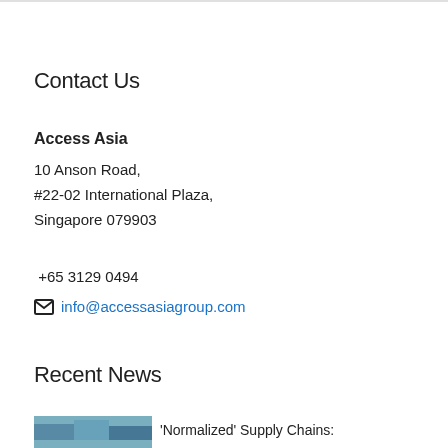Contact Us
Access Asia
10 Anson Road,
#22-02 International Plaza,
Singapore 079903
+65 3129 0494
info@accessasiagroup.com
Recent News
'Normalized' Supply Chains: